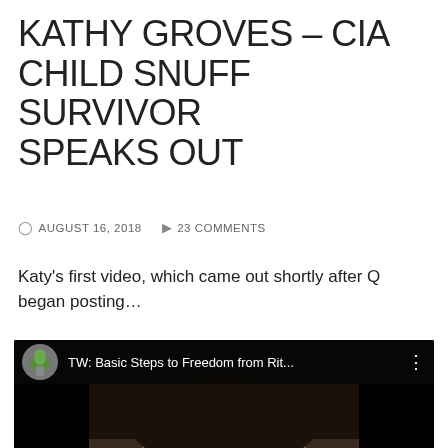KATHY GROVES – CIA CHILD SNUFF SURVIVOR SPEAKS OUT
AUGUST 16, 2018   23 COMMENTS
Katy's first video, which came out shortly after Q began posting...
[Figure (screenshot): YouTube video thumbnail showing a child's face with the video title 'TW: Basic Steps to Freedom from Rit...' and a red YouTube play button overlay]